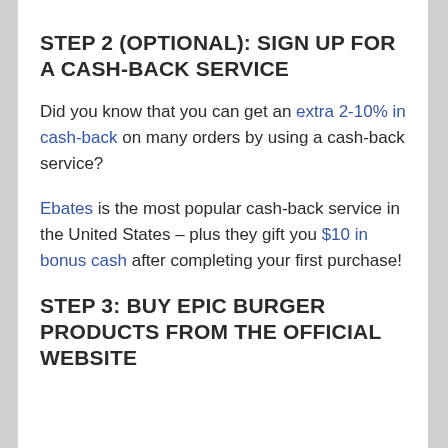STEP 2 (OPTIONAL): SIGN UP FOR A CASH-BACK SERVICE
Did you know that you can get an extra 2-10% in cash-back on many orders by using a cash-back service?
Ebates is the most popular cash-back service in the United States – plus they gift you $10 in bonus cash after completing your first purchase!
STEP 3: BUY EPIC BURGER PRODUCTS FROM THE OFFICIAL WEBSITE